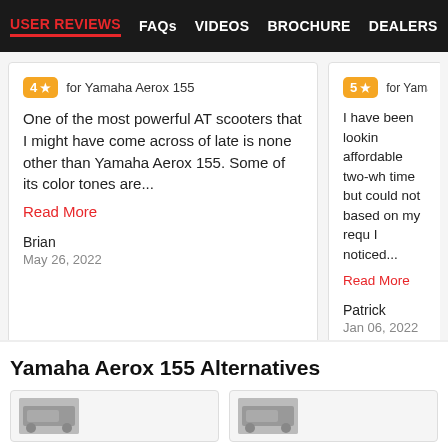USER REVIEWS | FAQs | VIDEOS | BROCHURE | DEALERS
4★ for Yamaha Aerox 155
One of the most powerful AT scooters that I might have come across of late is none other than Yamaha Aerox 155. Some of its color tones are...
Read More
Brian
May 26, 2022
5★ for Yamaha A...
I have been lookin affordable two-wh time but could not based on my requ I noticed...
Read More
Patrick
Jan 06, 2022
Read All Aerox 155 User Reviews
Yamaha Aerox 155 Alternatives